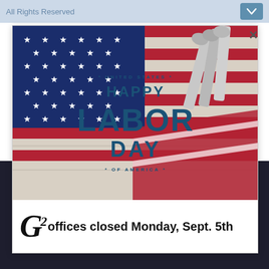All Rights Reserved
[Figure (screenshot): Modal popup with Happy Labor Day image featuring an American flag with stars, wrenches/tools, and text: UNITED STATES / HAPPY / LABOR / DAY / OF AMERICA. Below the image: G2 logo with offices closed Monday, Sept. 5th]
of cookies to help you get the most out of our site and services. You can block cookies, opt-out, or have us delete info stored on this site by following instructions found in